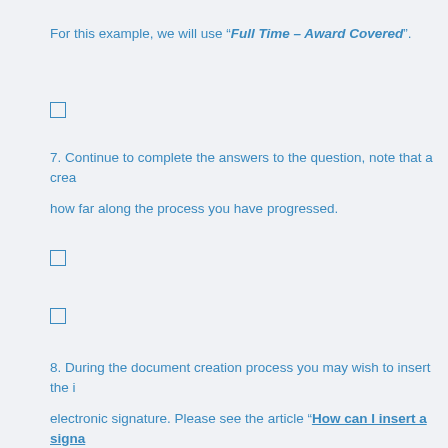For this example, we will use “Full Time – Award Covered”.
[Figure (other): Checkbox (unchecked) - form checkbox element]
7. Continue to complete the answers to the question, note that a crea how far along the process you have progressed.
[Figure (other): Checkbox (unchecked) - form checkbox element]
[Figure (other): Checkbox (unchecked) - form checkbox element]
8. During the document creation process you may wish to insert the i electronic signature. Please see the article “How can I insert a signa for more detailed information.